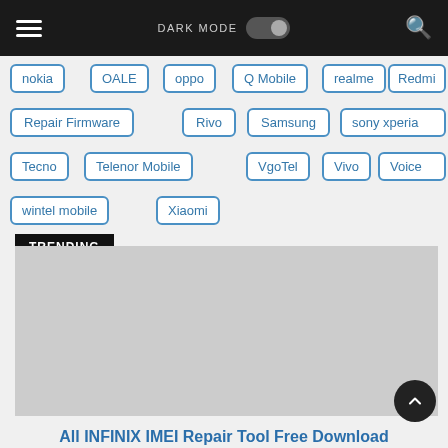Navigation bar with hamburger menu, DARK MODE toggle, and search icon
nokia
OALE
oppo
Q Mobile
realme
Redmi
Repair Firmware
Rivo
Samsung
sony xperia
Tecno
Telenor Mobile
VgoTel
Vivo
Voice
wintel mobile
Xiaomi
TRENDING
[Figure (photo): Placeholder grey image for a trending article]
All INFINIX IMEI Repair Tool Free Download